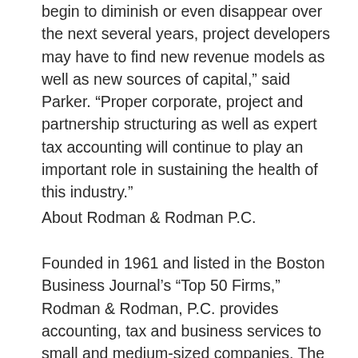begin to diminish or even disappear over the next several years, project developers may have to find new revenue models as well as new sources of capital,” said Parker. “Proper corporate, project and partnership structuring as well as expert tax accounting will continue to play an important role in sustaining the health of this industry.”
About Rodman & Rodman P.C.
Founded in 1961 and listed in the Boston Business Journal’s “Top 50 Firms,” Rodman & Rodman, P.C. provides accounting, tax and business services to small and medium-sized companies. The Rodman & Rodman “Green